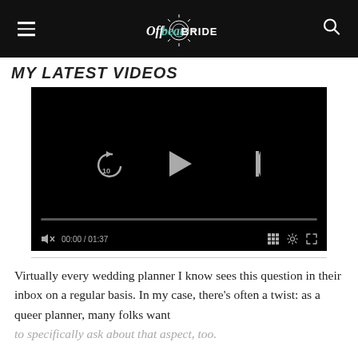Offbeat Bride
MY LATEST VIDEOS
[Figure (screenshot): Video player with play, skip-back 10, and skip-forward controls, a progress bar, volume icon, time display 00:00 / 01:37, and playback/settings/fullscreen controls on a black background.]
Virtually every wedding planner I know sees this question in their inbox on a regular basis. In my case, there's often a twist: as a queer planner, many folks want to specifically ask about that aspect, too.